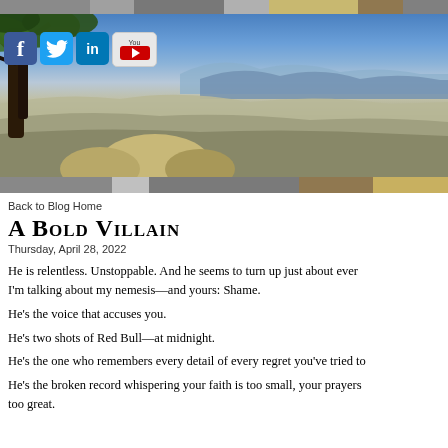[Figure (photo): Website header banner showing a landscape photo of a rocky hillside with an old gnarled tree on the left, overlooking a valley with mountains in the background under a blue sky. Social media icons (Facebook, Twitter, LinkedIn, YouTube) are overlaid in the top-left corner. Decorative color strips appear above and below the photo.]
Back to Blog Home
A Bold Villain
Thursday, April 28, 2022
He is relentless. Unstoppable. And he seems to turn up just about ever I'm talking about my nemesis—and yours: Shame.
He's the voice that accuses you.
He's two shots of Red Bull—at midnight.
He's the one who remembers every detail of every regret you've tried to
He's the broken record whispering your faith is too small, your prayers too great.